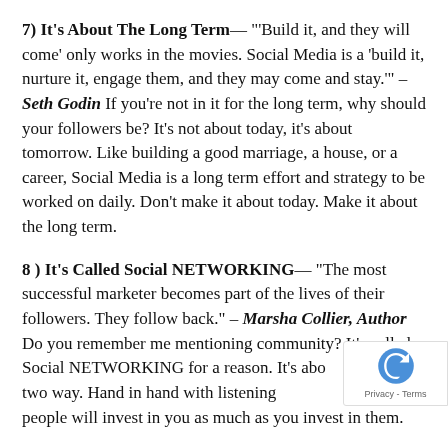7) It's About The Long Term— "'Build it, and they will come' only works in the movies. Social Media is a 'build it, nurture it, engage them, and they may come and stay.'" – Seth Godin If you're not in it for the long term, why should your followers be? It's not about today, it's about tomorrow. Like building a good marriage, a house, or a career, Social Media is a long term effort and strategy to be worked on daily. Don't make it about today. Make it about the long term.
8 ) It's Called Social NETWORKING— "The most successful marketer becomes part of the lives of their followers. They follow back." – Marsha Collier, Author Do you remember me mentioning community? It's called Social NETWORKING for a reason. It's about interaction, two way. Hand in hand with listening, people will invest in you as much as you invest in them.